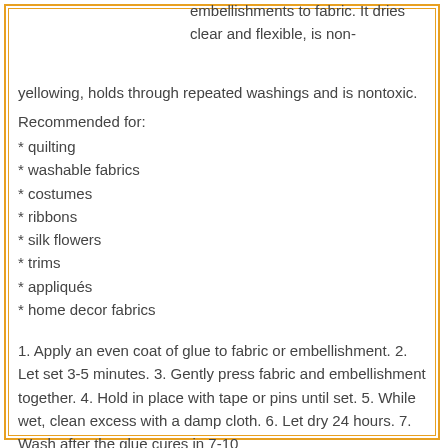embellishments to fabric. It dries clear and flexible, is non-yellowing, holds through repeated washings and is nontoxic.
Recommended for:
* quilting
* washable fabrics
* costumes
* ribbons
* silk flowers
* trims
* appliqués
* home decor fabrics
1. Apply an even coat of glue to fabric or embellishment. 2. Let set 3-5 minutes. 3. Gently press fabric and embellishment together. 4. Hold in place with tape or pins until set. 5. While wet, clean excess with a damp cloth. 6. Let dry 24 hours. 7. Wash after the glue cures in 7-10